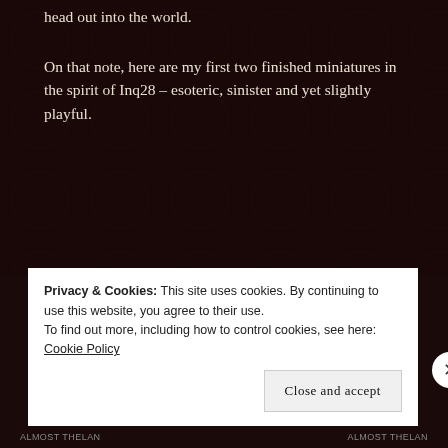head out into the world.
On that note, here are my first two finished miniatures in the spirit of Inq28 – esoteric, sinister and yet slightly playful.
[Figure (photo): Two painted miniature figures on a grey background. Left figure is a dark armored humanoid character in red and black. Right figure is a taller skeletal creature with wings and mechanical claws, wearing a red coat with a skull beneath it.]
Privacy & Cookies: This site uses cookies. By continuing to use this website, you agree to their use.
To find out more, including how to control cookies, see here: Cookie Policy
Close and accept